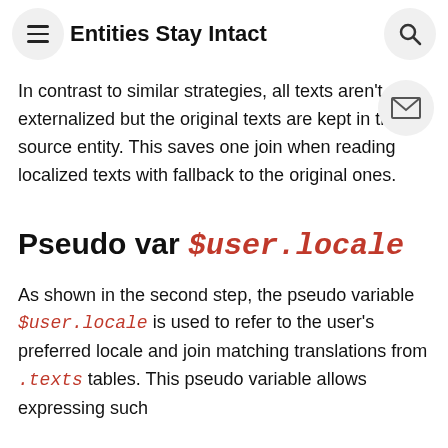Entities Stay Intact
In contrast to similar strategies, all texts aren't externalized but the original texts are kept in the source entity. This saves one join when reading localized texts with fallback to the original ones.
Pseudo var $user.locale
As shown in the second step, the pseudo variable $user.locale is used to refer to the user's preferred locale and join matching translations from .texts tables. This pseudo variable allows expressing such